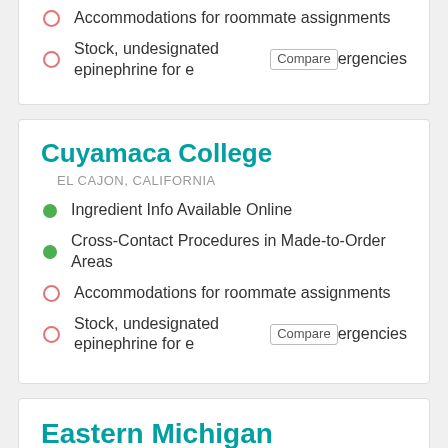Accommodations for roommate assignments
Stock, undesignated epinephrine for emergencies
Cuyamaca College
EL CAJON, CALIFORNIA
Ingredient Info Available Online
Cross-Contact Procedures in Made-to-Order Areas
Accommodations for roommate assignments
Stock, undesignated epinephrine for emergencies
Eastern Michigan University
YPSILANTI, MICHIGAN